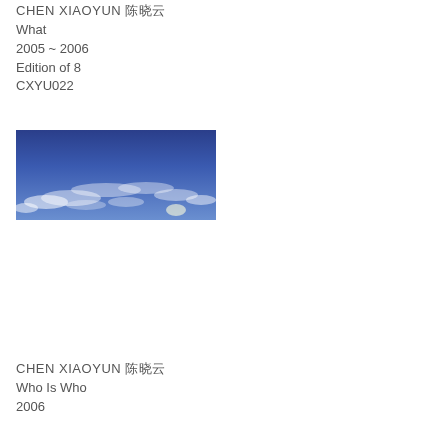CHEN XIAOYUN 陈晓云
What
2005 ~ 2006
Edition of 8
CXYU022
[Figure (photo): Panoramic sky photograph showing a deep blue sky with scattered white clouds, taken from a low angle.]
CHEN XIAOYUN 陈晓云
Who Is Who
2006